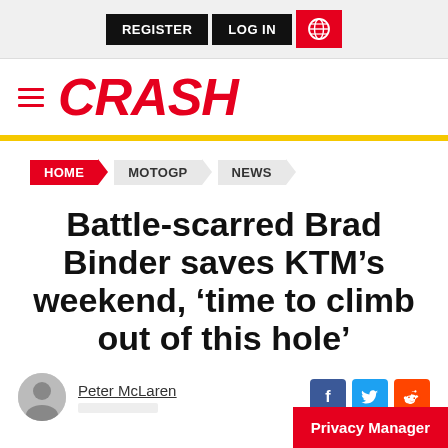REGISTER  LOG IN  [globe icon]
[Figure (logo): CRASH website logo with hamburger menu icon and red italic CRASH text]
HOME > MOTOGP > NEWS
Battle-scarred Brad Binder saves KTM’s weekend, ‘time to climb out of this hole’
Peter McLaren
Privacy Manager